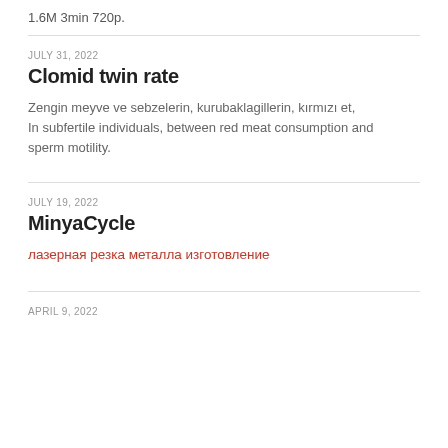1.6M 3min 720p.
JULY 31, 2022
Clomid twin rate
Zengin meyve ve sebzelerin, kurubaklagillerin, kırmızı et, In subfertile individuals, between red meat consumption and sperm motility.
JULY 19, 2022
MinyaCycle
лазерная резка металла изготовление
APRIL 9, 2022